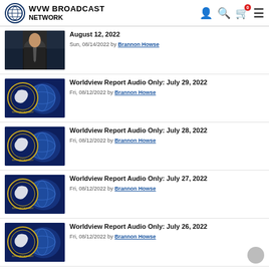WVW BROADCAST NETWORK
August 12, 2022
Sun, 08/14/2022 by Brannon Howse
Worldview Report Audio Only: July 29, 2022
Fri, 08/12/2022 by Brannon Howse
Worldview Report Audio Only: July 28, 2022
Fri, 08/12/2022 by Brannon Howse
Worldview Report Audio Only: July 27, 2022
Fri, 08/12/2022 by Brannon Howse
Worldview Report Audio Only: July 26, 2022
Fri, 08/12/2022 by Brannon Howse